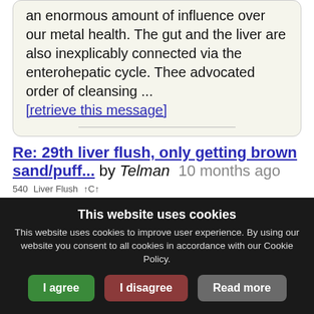an enormous amount of influence over our metal health. The gut and the liver are also inexplicably connected via the enterohepatic cycle. Thee advocated order of cleansing ... [retrieve this message]
Re: 29th liver flush, only getting brown sand/puff... by Telman  10 months ago
540  Liver Flush  ↑C↑
You flush every two weeks until you get no more stones for 3 consecutive flushes. At
This website uses cookies
This website uses cookies to improve user experience. By using our website you consent to all cookies in accordance with our Cookie Policy.
I agree  I disagree  Read more